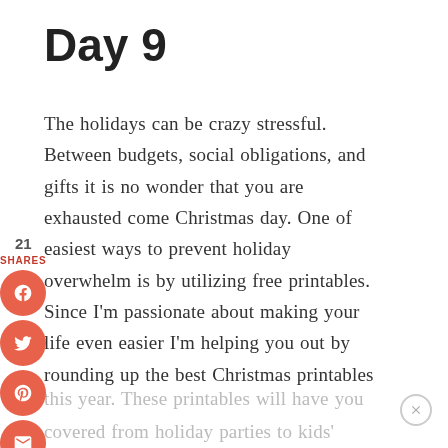Day 9
The holidays can be crazy stressful. Between budgets, social obligations, and gifts it is no wonder that you are exhausted come Christmas day. One of easiest ways to prevent holiday overwhelm is by utilizing free printables. Since I'm passionate about making your life even easier I'm helping you out by rounding up the best Christmas printables this year. These printables will have you covered from holiday parties to kids'
[Figure (infographic): Social sharing sidebar with share count (21 SHARES) and four circular coral/red buttons for Facebook (f), Twitter (bird), Pinterest (p), and Email (envelope)]